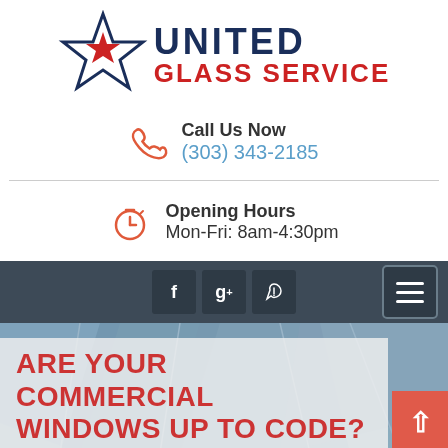[Figure (logo): United Glass Service logo with blue star and text]
Call Us Now
(303) 343-2185
Opening Hours
Mon-Fri: 8am-4:30pm
[Figure (screenshot): Navigation bar with Facebook, Google+, Yelp social icons and hamburger menu button]
ARE YOUR COMMERCIAL WINDOWS UP TO CODE?